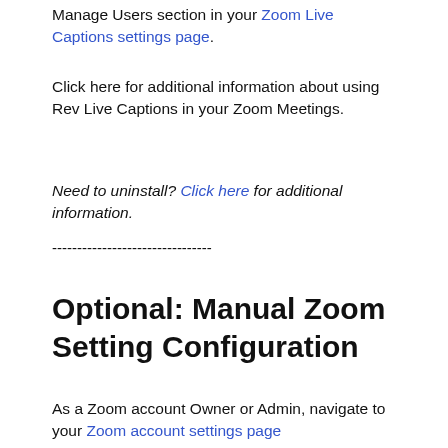Manage Users section in your Zoom Live Captions settings page.
Click here for additional information about using Rev Live Captions in your Zoom Meetings.
Need to uninstall? Click here for additional information.
--------------------------------
Optional: Manual Zoom Setting Configuration
As a Zoom account Owner or Admin, navigate to your Zoom account settings page